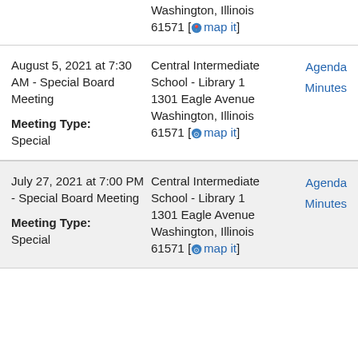Washington, Illinois 61571 [map it]
August 5, 2021 at 7:30 AM - Special Board Meeting
Meeting Type: Special
Central Intermediate School - Library 1
1301 Eagle Avenue
Washington, Illinois 61571 [map it]
Agenda
Minutes
July 27, 2021 at 7:00 PM - Special Board Meeting
Meeting Type: Special
Central Intermediate School - Library 1
1301 Eagle Avenue
Washington, Illinois 61571 [map it]
Agenda
Minutes